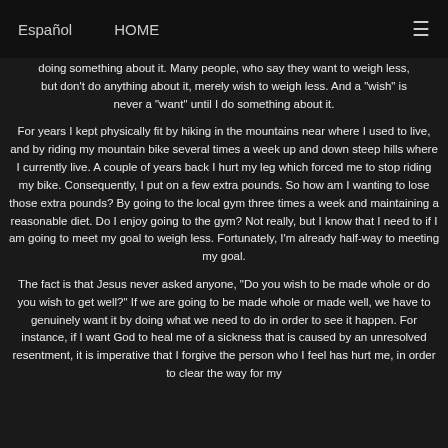Español   HOME   ☰
doing something about it. Many people, who say they want to weigh less, but don't do anything about it, merely wish to weigh less. And a "wish" is never a "want" until I do something about it.
For years I kept physically fit by hiking in the mountains near where I used to live, and by riding my mountain bike several times a week up and down steep hills where I currently live. A couple of years back I hurt my leg which forced me to stop riding my bike. Consequently, I put on a few extra pounds. So how am I wanting to lose those extra pounds? By going to the local gym three times a week and maintaining a reasonable diet. Do I enjoy going to the gym? Not really, but I know that I need to if I am going to meet my goal to weigh less. Fortunately, I'm already half-way to meeting my goal.
The fact is that Jesus never asked anyone, "Do you wish to be made whole or do you wish to get well?" If we are going to be made whole or made well, we have to genuinely want it by doing what we need to do in order to see it happen. For instance, if I want God to heal me of a sickness that is caused by an unresolved resentment, it is imperative that I forgive the person who I feel has hurt me, in order to clear the way for my